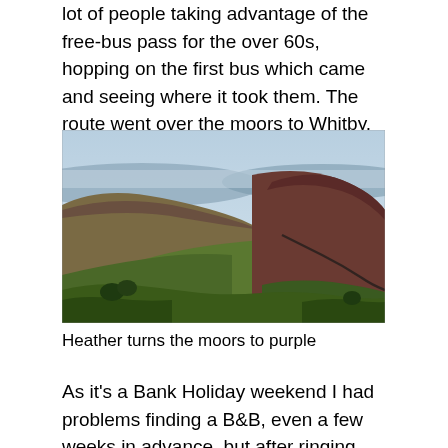lot of people taking advantage of the free-bus pass for the over 60s, hopping on the first bus which came and seeing where it took them. The route went over the moors to Whitby, which were covered in purple heather - it's hard to believe just how purple they were!
[Figure (photo): Landscape photo of moorland hills covered in purple-brown heather and green vegetation, with a pale blue sky and distant hills on the horizon.]
Heather turns the moors to purple
As it's a Bank Holiday weekend I had problems finding a B&B, even a few weeks in advance, but after ringing about a dozen I